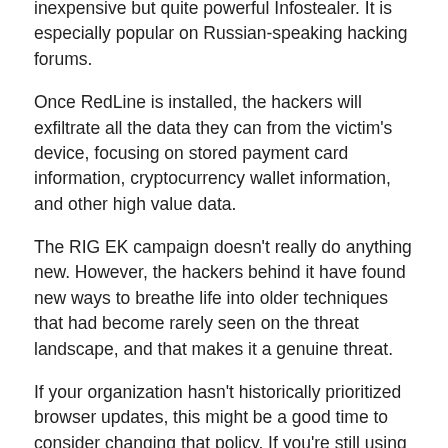inexpensive but quite powerful Infostealer. It is especially popular on Russian-speaking hacking forums.
Once RedLine is installed, the hackers will exfiltrate all the data they can from the victim's device, focusing on stored payment card information, cryptocurrency wallet information, and other high value data.
The RIG EK campaign doesn't really do anything new. However, the hackers behind it have found new ways to breathe life into older techniques that had become rarely seen on the threat landscape, and that makes it a genuine threat.
If your organization hasn't historically prioritized browser updates, this might be a good time to consider changing that policy. If you're still using Internet Explorer for one reason or another, it's past time to apply some resources to the task of transitioning away from it. Even if for no other reason than to give yourself a few less headaches.
Used with permission from Article Aggregator